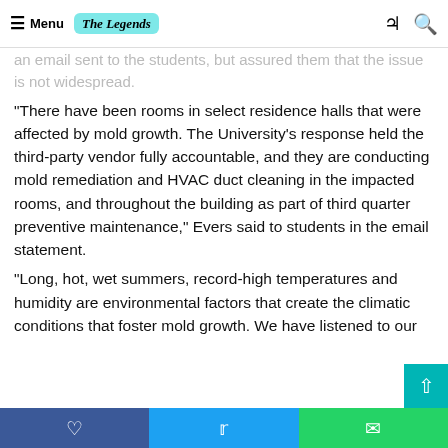Menu | The Legends [logo]
The Howard University Division of Student Affairs also acknowledged the presence of mold in select residence halls in an email sent to the students, but assured them that the issue is not widespread.
“There have been rooms in select residence halls that were affected by mold growth. The University’s response held the third-party vendor fully accountable, and they are conducting mold remediation and HVAC duct cleaning in the impacted rooms, and throughout the building as part of third quarter preventive maintenance,” Evers said to students in the email statement.
“Long, hot, wet summers, record-high temperatures and humidity are environmental factors that create the climatic conditions that foster mold growth. We have listened to our